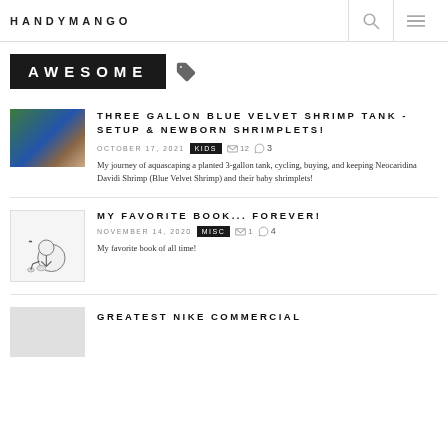HANDYMANGO
AWESOME
THREE GALLON BLUE VELVET SHRIMP TANK - SETUP & NEWBORN SHRIMPLETS!
OCTOBER 17, 2021  KIDS  12  3
My journey of aquascaping a planted 3-gallon tank, cycling, buying, and keeping Neocaridina Davidi Shrimp (Blue Velvet Shrimp) and their baby shrimplets!
MY FAVORITE BOOK... FOREVER!
NOVEMBER 14, 2020  MISC  1  4
My favorite book of all time!
GREATEST NIKE COMMERCIAL